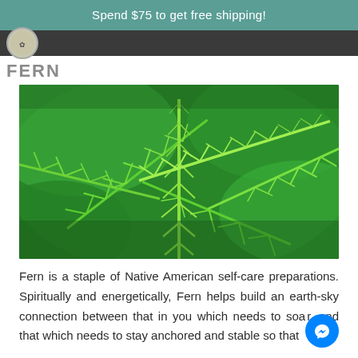Spend $75 to get free shipping!
FERN
[Figure (photo): Close-up photograph of bright green fern fronds with detailed leaf patterns]
Fern is a staple of Native American self-care preparations. Spiritually and energetically, Fern helps build an earth-sky connection between that in you which needs to soar, and that which needs to stay anchored and stable so that